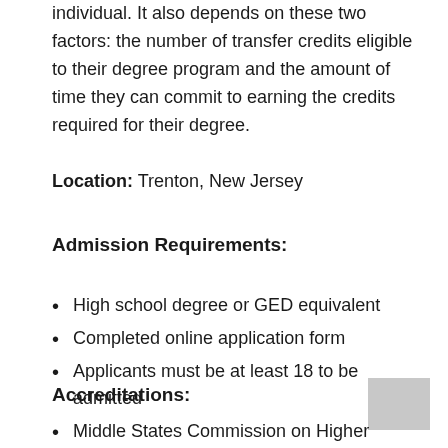individual. It also depends on these two factors: the number of transfer credits eligible to their degree program and the amount of time they can commit to earning the credits required for their degree.
Location: Trenton, New Jersey
Admission Requirements:
High school degree or GED equivalent
Completed online application form
Applicants must be at least 18 to be admitted
Accreditations:
Middle States Commission on Higher Education